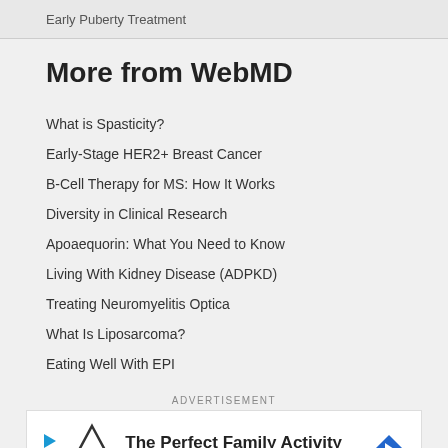Early Puberty Treatment
More from WebMD
What is Spasticity?
Early-Stage HER2+ Breast Cancer
B-Cell Therapy for MS: How It Works
Diversity in Clinical Research
Apoaequorin: What You Need to Know
Living With Kidney Disease (ADPKD)
Treating Neuromyelitis Optica
What Is Liposarcoma?
Eating Well With EPI
ADVERTISEMENT
[Figure (other): Topgolf advertisement banner: The Perfect Family Activity - Topgolf]